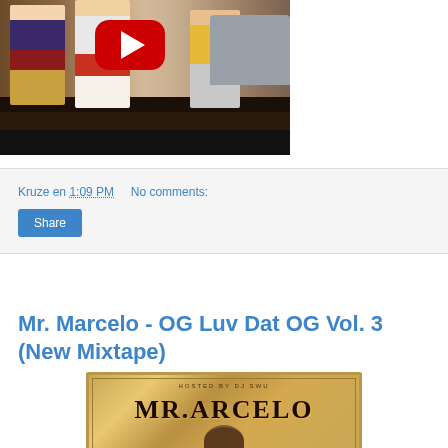[Figure (screenshot): YouTube video thumbnail showing people on a street scene with a YouTube play button overlay]
Kruze en 1:09 PM    No comments:
Share
Mr. Marcelo - OG Luv Dat OG Vol. 3 (New Mixtape)
[Figure (photo): Album art for Mr. Marcelo OG Luv Dat OG Vol. 3 mixtape with ornate gold design and text MARCELO]